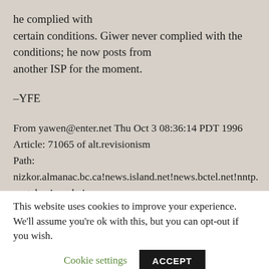he complied with certain conditions. Giwer never complied with the conditions; he now posts from another ISP for the moment.
–YFE
From yawen@enter.net Thu Oct 3 08:36:14 PDT 1996
Article: 71065 of alt.revisionism
Path:
nizkor.almanac.bc.ca!news.island.net!news.bctel.net!nntp.portal.ca!van-bc!
n1van.istar!van.istar!west.istar!ott.istar!istar.net!news.nst
This website uses cookies to improve your experience. We'll assume you're ok with this, but you can opt-out if you wish.
Cookie settings
ACCEPT